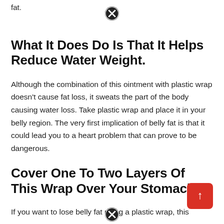fat.
What It Does Do Is That It Helps Reduce Water Weight.
Although the combination of this ointment with plastic wrap doesn't cause fat loss, it sweats the part of the body causing water loss. Take plastic wrap and place it in your belly region. The very first implication of belly fat is that it could lead you to a heart problem that can prove to be dangerous.
Cover One To Two Layers Of This Wrap Over Your Stomach.
If you want to lose belly fat using a plastic wrap, this article will show you the best way of removing extra fat.